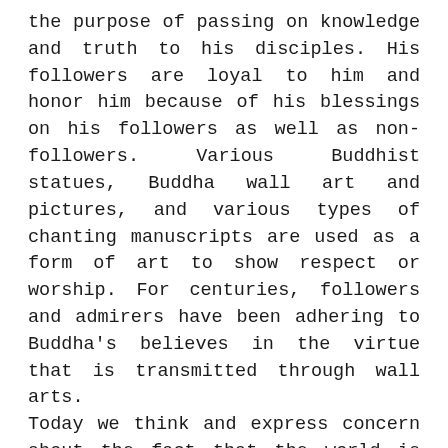the purpose of passing on knowledge and truth to his disciples. His followers are loyal to him and honor him because of his blessings on his followers as well as non-followers. Various Buddhist statues, Buddha wall art and pictures, and various types of chanting manuscripts are used as a form of art to show respect or worship. For centuries, followers and admirers have been adhering to Buddha's believes in the virtue that is transmitted through wall arts.
Today we think and express concern about the fact that the world is becoming more and more polluted due to increasing traffic and industries. The environment is getting worse day by day and this is quite evident. However, it has been scientifically proven that the air inside our house is more polluted than the air outside. Our homes have become more polluted than the environment due to the use of artificial things.